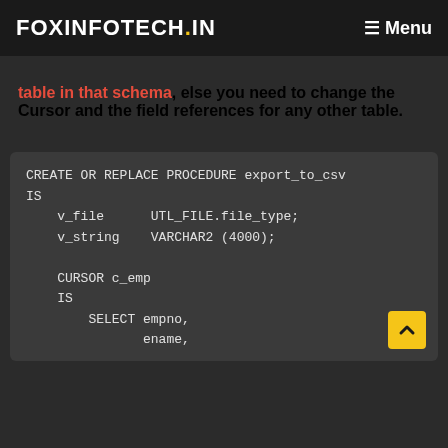FOXINFOTECH.IN  ≡ Menu
table in that schema, else you need to change the Cursor and the field references for any other table.
[Figure (screenshot): Code block showing Oracle PL/SQL CREATE OR REPLACE PROCEDURE export_to_csv with variable declarations v_file UTL_FILE.file_type, v_string VARCHAR2(4000), and CURSOR c_emp IS SELECT empno, ename,]